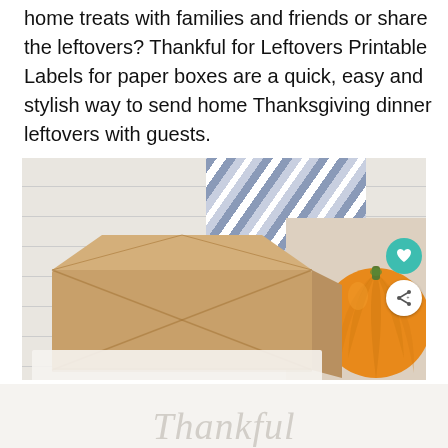home treats with families and friends or share the leftovers? Thankful for Leftovers Printable Labels for paper boxes are a quick, easy and stylish way to send home Thanksgiving dinner leftovers with guests.
[Figure (photo): Overhead photo of a kraft paper takeout box on a white wood surface, with a blue and white striped cloth in the upper right corner and an orange pumpkin partially visible on the right. Two circular icon buttons (heart/save and share) are overlaid on the right edge of the image.]
[Figure (photo): Partial bottom preview of a printable label with cursive/script text beginning with 'Thankful' on a light background.]